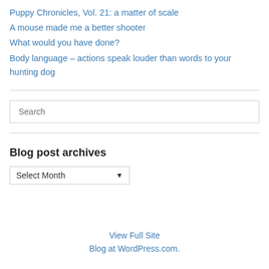Puppy Chronicles, Vol. 21: a matter of scale
A mouse made me a better shooter
What would you have done?
Body language – actions speak louder than words to your hunting dog
Search
Blog post archives
Select Month
View Full Site
Blog at WordPress.com.